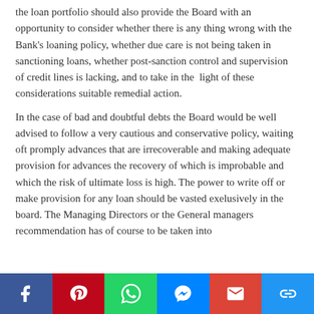the loan portfolio should also provide the Board with an opportunity to consider whether there is any thing wrong with the Bank's loaning policy, whether due care is not being taken in sanctioning loans, whether post-sanction control and supervision of credit lines is lacking, and to take in the  light of these considerations suitable remedial action.
In the case of bad and doubtful debts the Board would be well advised to follow a very cautious and conservative policy, waiting oft promply advances that are irrecoverable and making adequate provision for advances the recovery of which is improbable and which the risk of ultimate loss is high. The power to write off or make provision for any loan should be vasted exelusively in the board. The Managing Directors or the General managers recommendation has of course to be taken into consideration but it is only for the Board to decide...
Social share bar: Facebook, Pinterest, WhatsApp, Messenger, Gmail, Link